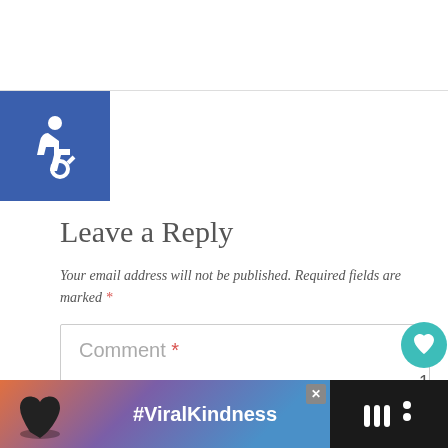[Figure (logo): Blue square with white wheelchair accessibility icon (ISA symbol)]
Leave a Reply
Your email address will not be published. Required fields are marked *
Comment *
[Figure (other): Teal circular like/heart button with count of 1, and a share button below]
[Figure (other): What's Next panel showing Cuisinart 10 Piece Cookwa... with thumbnail]
[Figure (other): Advertisement banner with silhouette of hands forming heart shape, #ViralKindness text, close button, and logo]